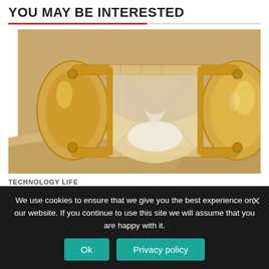YOU MAY BE INTERESTED
[Figure (photo): A brass hourglass lying on its side in sand, with white sand inside the glass bulbs. The hourglass has ornate golden metal frames and connectors, resting partially buried in beige sandy background.]
TECHNOLOGY LIFE
We use cookies to ensure that we give you the best experience on our website. If you continue to use this site we will assume that you are happy with it.